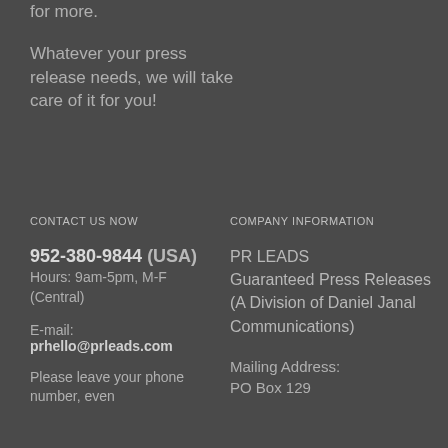for more.
Whatever your press release needs, we will take care of it for you!
CONTACT US NOW
COMPANY INFORMATION
952-380-9844 (USA)
Hours: 9am-5pm, M-F (Central)
PR LEADS
Guaranteed Press Releases
(A Division of Daniel Janal Communications)
E-mail:
prhello@prleads.com
Please leave your phone number, even
Mailing Address:
PO Box 129